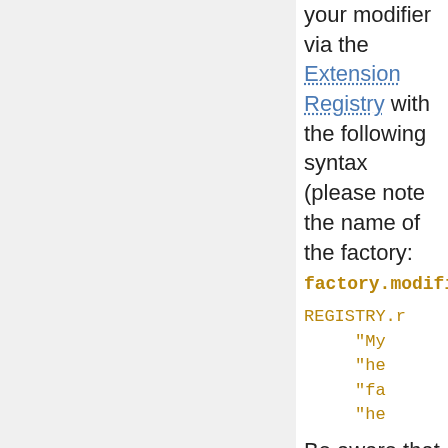your modifier via the Extension Registry with the following syntax (please note the name of the factory: factory.modifier):
REGISTRY.r
     "My
     "he
     "fa
     "he
Be aware that the registration